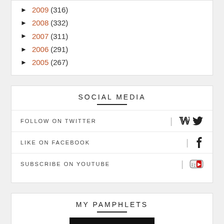► 2009 (316)
► 2008 (332)
► 2007 (311)
► 2006 (291)
► 2005 (267)
SOCIAL MEDIA
FOLLOW ON TWITTER
LIKE ON FACEBOOK
SUBSCRIBE ON YOUTUBE
MY PAMPHLETS
[Figure (other): Pamphlet cover image with dark background showing 'Thought Control, Inc.' text in cyan]